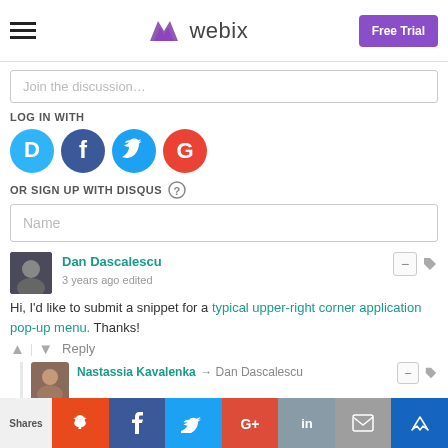Webix — hamburger menu, logo, Free Trial button
Join the discussion...
LOG IN WITH
[Figure (infographic): Social login icons: Disqus (blue circle with D), Facebook (dark blue circle with f), Twitter (cyan circle with bird), Google (red circle with G)]
OR SIGN UP WITH DISQUS
Name
Dan Dascalescu
3 years ago edited
Hi, I'd like to submit a snippet for a typical upper-right corner application pop-up menu. Thanks!
Nastassia Kavalenka → Dan Dascalescu
Shares | Reddit | Facebook | Twitter | Google+ | LinkedIn | Email | Crown